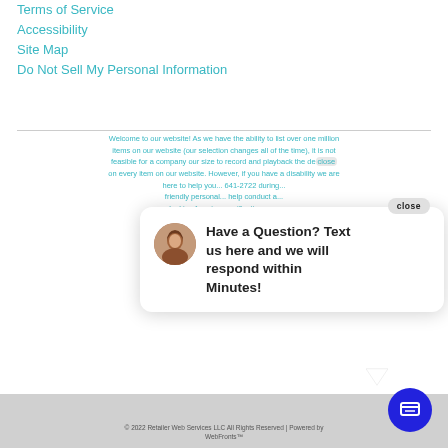Terms of Service
Accessibility
Site Map
Do Not Sell My Personal Information
Welcome to our website! As we have the ability to list over one million items on our website (our selection changes all of the time), it is not feasible for a company our size to record and playback the de... on every item on our website. However, if you have a disability we are here to help you... 641-2722 during... friendly personal... help conduct a... looking for wi... specifications o... themselves. The... for anyone with a... our Privacy Policy...  you so desire.
[Figure (screenshot): Chat popup with avatar of a woman, text: Have a Question? Text us here and we will respond within Minutes!, and a close button]
© 2022 Retailer Web Services LLC All Rights Reserved | Powered by WebFronts™